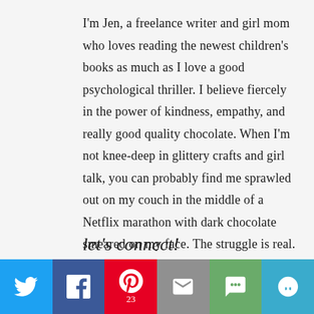I'm Jen, a freelance writer and girl mom who loves reading the newest children's books as much as I love a good psychological thriller. I believe fiercely in the power of kindness, empathy, and really good quality chocolate. When I'm not knee-deep in glittery crafts and girl talk, you can probably find me sprawled out on my couch in the middle of a Netflix marathon with dark chocolate smeared on my face. The struggle is real. Learn more about me here.
let's connect!
[Figure (other): Social sharing bar with Twitter, Facebook, Pinterest (23), Email, SMS, and More buttons]